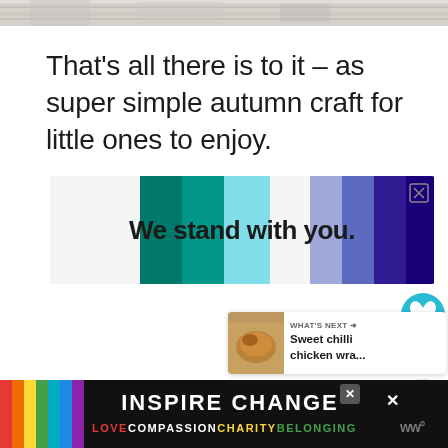[Figure (photo): Top strip showing wooden surface texture, partially cropped]
That’s all there is to it – as super simple autumn craft for little ones to enjoy.
[Figure (infographic): Advertisement banner with rainbow color blocks reading 'We stand with you.' with a close/X button in the top right]
[Figure (infographic): Floating heart/like button (teal circle with heart icon) with count 141, and a share button below]
[Figure (infographic): What's Next panel showing a food image thumbnail and text 'Sweet chilli chicken wra...']
[Figure (infographic): Bottom advertisement banner with 'INSPIRE CHANGE' in white bold text and 'LOVE COMPASSION CHARITY BELONGING' in colored text on black background, with close X and WW logo]